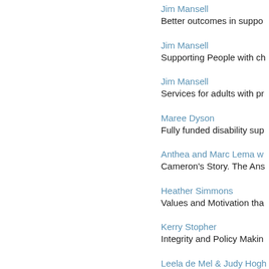Jim Mansell
Better outcomes in suppo...
Jim Mansell
Supporting People with ch...
Jim Mansell
Services for adults with pr...
Maree Dyson
Fully funded disability sup...
Anthea and Marc Lema w...
Cameron's Story. The Ans...
Heather Simmons
Values and Motivation tha...
Kerry Stopher
Integrity and Policy Makin...
Leela de Mel & Judy Hogh...
Pushing the Envelope thr...
Jill Bowman
Inclusion in Sport